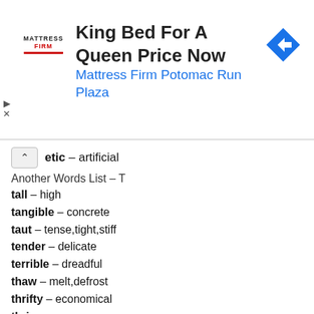[Figure (screenshot): Advertisement banner for Mattress Firm Potomac Run Plaza with logo, navigation arrow icon, and ad controls]
etic – artificial
Another Words List – T
tall – high
tangible – concrete
taut – tense,tight,stiff
tender – delicate
terrible – dreadful
thaw – melt,defrost
thrifty – economical
thrive – prosper
total – whole,entire
trivial – insignificant